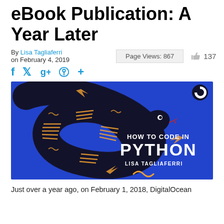eBook Publication: A Year Later
By Lisa Tagliaferri on February 4, 2019    Page Views: 867    137
[Figure (illustration): Book cover for 'How to Code in Python' by Lisa Tagliaferri, showing a stylized snake on a blue background with orange accents]
Just over a year ago, on February 1, 2018, DigitalOcean